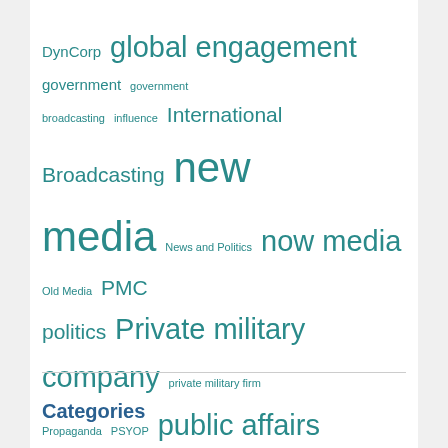[Figure (infographic): Tag cloud with terms related to public diplomacy, media, and military topics in teal/green color on white background. Terms vary in font size indicating frequency/importance.]
Categories